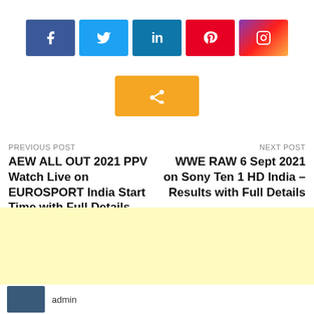[Figure (infographic): Social media share buttons: Facebook (blue), Twitter (light blue), LinkedIn (dark blue), Pinterest (red), Instagram (gradient purple-red-orange)]
[Figure (infographic): Orange share button with share icon]
PREVIOUS POST
AEW ALL OUT 2021 PPV Watch Live on EUROSPORT India Start Time with Full Details
NEXT POST
WWE RAW 6 Sept 2021 on Sony Ten 1 HD India – Results with Full Details
[Figure (photo): Thumbnail image at bottom left, partially visible]
admin